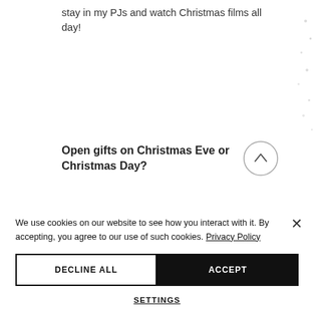stay in my PJs and watch Christmas films all day!
Open gifts on Christmas Eve or Christmas Day?
I love opening gifts on Christmas Eve!
We use cookies on our website to see how you interact with it. By accepting, you agree to our use of such cookies. Privacy Policy
DECLINE ALL
ACCEPT
SETTINGS